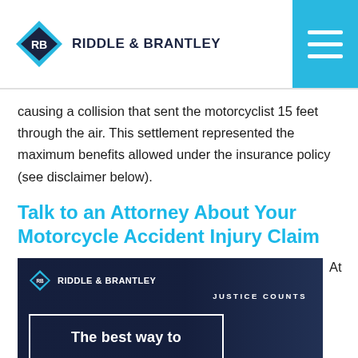Riddle & Brantley
causing a collision that sent the motorcyclist 15 feet through the air. This settlement represented the maximum benefits allowed under the insurance policy (see disclaimer below).
Talk to an Attorney About Your Motorcycle Accident Injury Claim
[Figure (other): Riddle & Brantley law firm promotional video thumbnail with dark background, logo, 'JUSTICE COUNTS' text, and partial text 'The best way to' in a white outlined box]
At